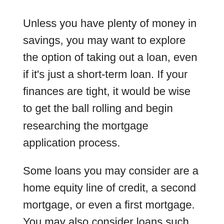Unless you have plenty of money in savings, you may want to explore the option of taking out a loan, even if it's just a short-term loan. If your finances are tight, it would be wise to get the ball rolling and begin researching the mortgage application process.
Some loans you may consider are a home equity line of credit, a second mortgage, or even a first mortgage. You may also consider loans such as Law Enforcement Home Loans Colorado if you have a career in Law Enforcement.
If you do not have a good credit history, it may be impossible to get a mortgage. However, an FHA loan is available for first-time buyers, especially those with a low credit score. Fill out the necessary paperwork and have your credit score checked by a reputable source before applying for an FHA loan.